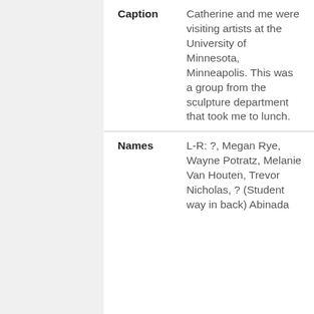| Field | Content |
| --- | --- |
| Caption | Catherine and me were visiting artists at the University of Minnesota, Minneapolis. This was a group from the sculpture department that took me to lunch. |
| Names | L-R: ?, Megan Rye, Wayne Potratz, Melanie Van Houten, Trevor Nicholas, ? (Student way in back) Abinada |